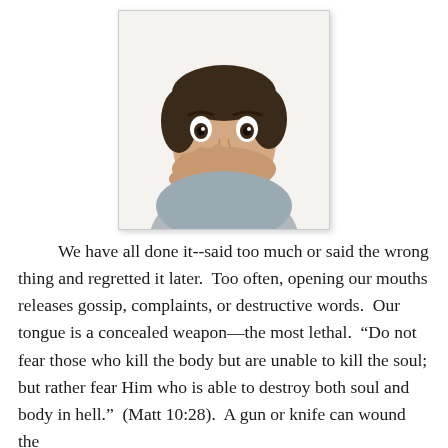[Figure (photo): A young woman with short dark hair covering her mouth with her hand, appearing surprised or silenced, wearing a grey t-shirt, white background photo with slight shadow border.]
We have all done it--said too much or said the wrong thing and regretted it later.  Too often, opening our mouths releases gossip, complaints, or destructive words.  Our tongue is a concealed weapon—the most lethal.  “Do not fear those who kill the body but are unable to kill the soul; but rather fear Him who is able to destroy both soul and body in hell.”  (Matt 10:28).  A gun or knife can wound the